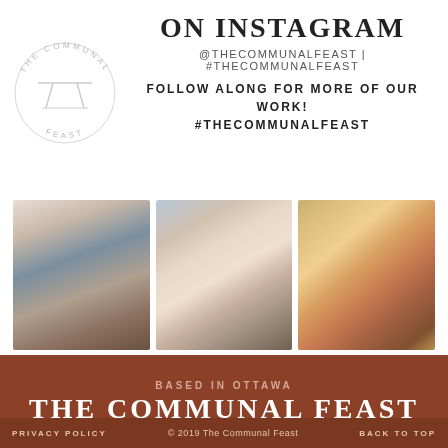[Figure (logo): The Communal Feast circular logo with text arranged in an arc]
ON INSTAGRAM
@THECOMMUNALFEAST | #THECOMMUNALFEAST
FOLLOW ALONG FOR MORE OF OUR WORK! #THECOMMUNALFEAST
[Figure (photo): Woman with long brown hair working in kitchen with baking dish]
[Figure (photo): Woman holding a baby in kitchen]
[Figure (photo): Close-up of sub sandwiches with deli meats]
BASED IN OTTAWA
THE COMMUNAL FEAST
PRIVACY POLICY   © 2019  The Communal Feast   BACK TO TOP